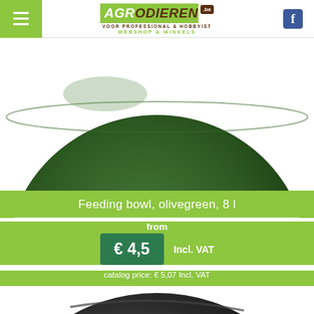AGRODIEREN.be — VOOR PROFESSIONAL & HOBBYIST — WEBSHOP & WINKELS
[Figure (photo): Close-up of a dark olive green feeding bowl, viewed from slightly above showing the rounded exterior]
Feeding bowl, olivegreen, 8 l
from
€ 4,5  Incl. VAT
catalog price: € 5,07 Incl. VAT
[Figure (photo): Partial view of a dark black product (animal feeder or similar) showing curved black surface]